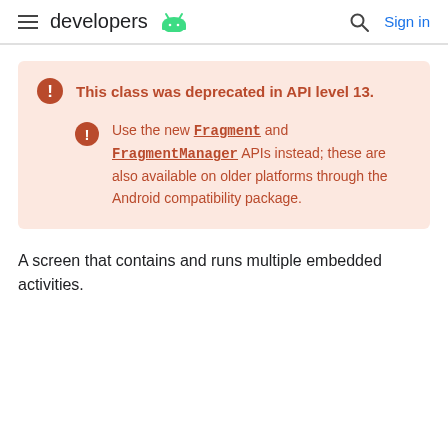developers
This class was deprecated in API level 13.
Use the new Fragment and FragmentManager APIs instead; these are also available on older platforms through the Android compatibility package.
A screen that contains and runs multiple embedded activities.